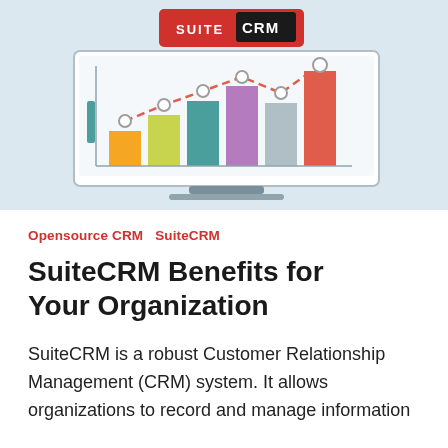[Figure (illustration): SuiteCRM logo at the top of a laptop/monitor display showing a bar chart with 6 colored bars (orange, yellow-green, teal, purple, gray, red) in ascending order, with a rising dashed red trend line with circular markers above the bars. The display is on a light blue background.]
Opensource CRM   SuiteCRM
SuiteCRM Benefits for Your Organization
SuiteCRM is a robust Customer Relationship Management (CRM) system. It allows organizations to record and manage information